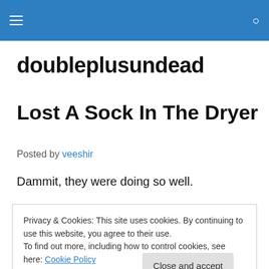doubleplusundead
Lost A Sock In The Dryer
Posted by veeshir
Dammit, they were doing so well.
Privacy & Cookies: This site uses cookies. By continuing to use this website, you agree to their use.
To find out more, including how to control cookies, see here: Cookie Policy
Close and accept